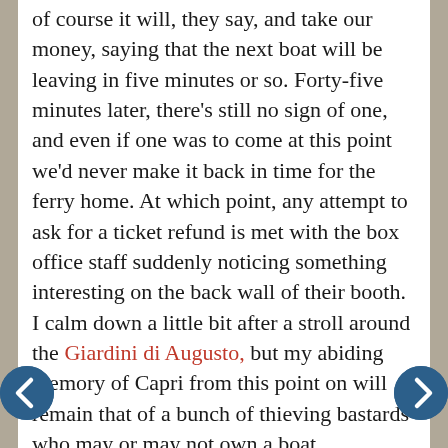of course it will, they say, and take our money, saying that the next boat will be leaving in five minutes or so. Forty-five minutes later, there's still no sign of one, and even if one was to come at this point we'd never make it back in time for the ferry home. At which point, any attempt to ask for a ticket refund is met with the box office staff suddenly noticing something interesting on the back wall of their booth. I calm down a little bit after a stroll around the Giardini di Augusto, but my abiding memory of Capri from this point on will remain that of a bunch of thieving bastards who may or may not own a boat.

Anyway, who needs Capri when you've got Sorrento? Located at the far end of the Circumvesuviana line, it's the most ridiculously beautiful place we encounter on the entire